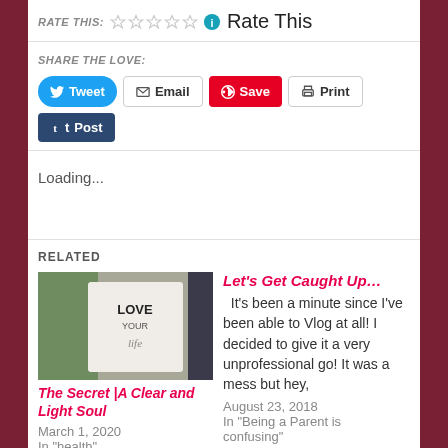RATE THIS: ☆☆☆☆☆ ℹ Rate This
SHARE THE LOVE:
Tweet | Email | Save | Print | Post
Loading...
RELATED
[Figure (photo): Photo of a 'LOVE YOUR LIFE' sign with greenery]
The Secret |A Clear and Light Soul
March 1, 2020
In "health"
Let's Get Caught Up... It's been a minute since I've been able to Vlog at all! I decided to give it a very unprofessional go! It was a mess but hey,
August 23, 2018
In "Being a Parent is confusing"